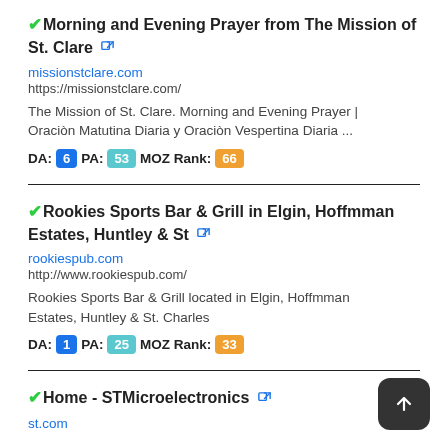✔ Morning and Evening Prayer from The Mission of St. Clare 🔗
missionstclare.com
https://missionstclare.com/
The Mission of St. Clare. Morning and Evening Prayer | Oraciòn Matutina Diaria y Oraciòn Vespertina Diaria ...
DA: 6  PA: 53  MOZ Rank: 66
✔ Rookies Sports Bar & Grill in Elgin, Hoffmman Estates, Huntley & St 🔗
rookiespub.com
http://www.rookiespub.com/
Rookies Sports Bar & Grill located in Elgin, Hoffmman Estates, Huntley & St. Charles
DA: 1  PA: 25  MOZ Rank: 33
✔ Home - STMicroelectronics 🔗
st.com